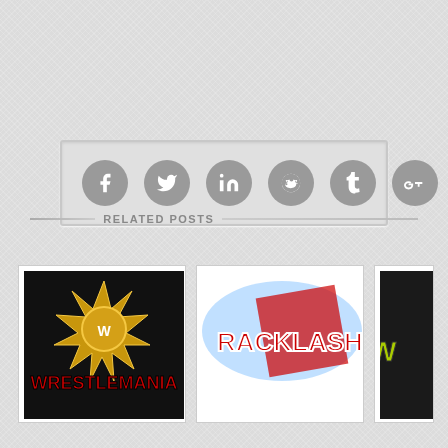[Figure (infographic): Social share buttons row: Facebook, Twitter, LinkedIn, Reddit, Tumblr, Google+, Email — round gray icons in a light gray bordered box]
RELATED POSTS
[Figure (photo): WWE WrestleMania logo thumbnail — gold starburst with WWE logo and WrestleMania text in red on black background]
[Figure (photo): WWE Backlash logo thumbnail — partial text visible: RACKLASH in red/blue/white styilized text]
[Figure (photo): Third WWE event logo thumbnail — partially cropped, green/yellow colors visible]